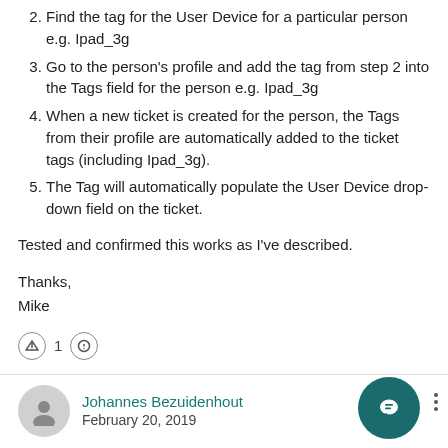2. Find the tag for the User Device for a particular person e.g. Ipad_3g
3. Go to the person's profile and add the tag from step 2 into the Tags field for the person e.g. Ipad_3g
4. When a new ticket is created for the person, the Tags from their profile are automatically added to the ticket tags (including Ipad_3g).
5. The Tag will automatically populate the User Device drop-down field on the ticket.
Tested and confirmed this works as I've described.
Thanks,
Mike
1
Johannes Bezuidenhout
February 20, 2019